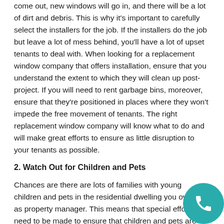come out, new windows will go in, and there will be a lot of dirt and debris. This is why it's important to carefully select the installers for the job. If the installers do the job but leave a lot of mess behind, you'll have a lot of upset tenants to deal with. When looking for a replacement window company that offers installation, ensure that you understand the extent to which they will clean up post-project. If you will need to rent garbage bins, moreover, ensure that they're positioned in places where they won't impede the free movement of tenants. The right replacement window company will know what to do and will make great efforts to ensure as little disruption to your tenants as possible.
2. Watch Out for Children and Pets
Chances are there are lots of families with young children and pets in the residential dwelling you oversee as property manager. This means that special efforts need to be made to ensure that children and pets are kept safe over the course of the project. Before the project even gets underway, you should tell tenants when the project will take place and what is expected of them. In o they need to be notified in writing that they must be v ensure that their children and pets stay safe during the